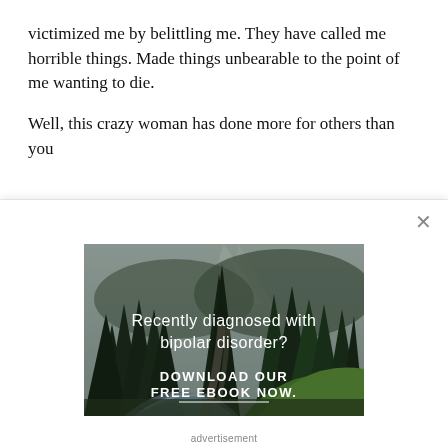victimized me by belittling me. They have called me horrible things. Made things unbearable to the point of me wanting to die.

Well, this crazy woman has done more for others than you
[Figure (screenshot): Advertisement modal overlay with a forest/nature scene background. Text reads 'Recently diagnosed with bipolar disorder? DOWNLOAD OUR FREE EBOOK NOW.' with a close (X) button in the top right corner. Caption below reads 'advertisement'.]
advertisement